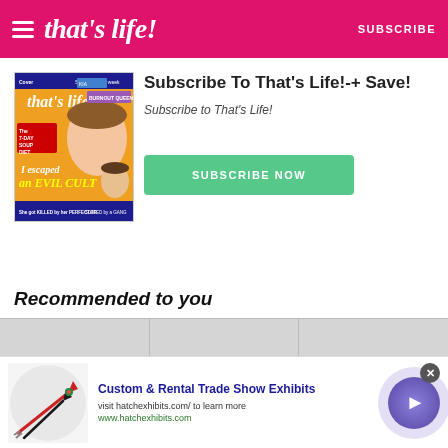that's life! SUBSCRIBE
Subscribe To That's Life!-+ Save!
Subscribe to That's Life!
[Figure (illustration): Magazine cover of That's Life! showing a woman's face, text 'I escaped an EVIL CULT', 7-Day Soup Diet, and other headlines]
[Figure (other): Green SUBSCRIBE NOW button]
Recommended to you
[Figure (other): Three grey placeholder recommendation cards]
[Figure (other): Advertisement banner: Custom & Rental Trade Show Exhibits, visit hatchexhibits.com/ to learn more, www.hatchexhibits.com, with dart board image and arrow navigation button]